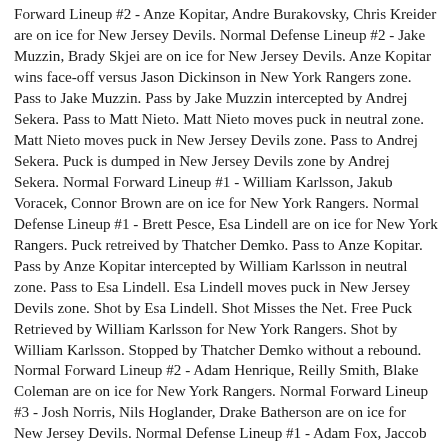Forward Lineup #2 - Anze Kopitar, Andre Burakovsky, Chris Kreider are on ice for New Jersey Devils. Normal Defense Lineup #2 - Jake Muzzin, Brady Skjei are on ice for New Jersey Devils. Anze Kopitar wins face-off versus Jason Dickinson in New York Rangers zone. Pass to Jake Muzzin. Pass by Jake Muzzin intercepted by Andrej Sekera. Pass to Matt Nieto. Matt Nieto moves puck in neutral zone. Matt Nieto moves puck in New Jersey Devils zone. Pass to Andrej Sekera. Puck is dumped in New Jersey Devils zone by Andrej Sekera. Normal Forward Lineup #1 - William Karlsson, Jakub Voracek, Connor Brown are on ice for New York Rangers. Normal Defense Lineup #1 - Brett Pesce, Esa Lindell are on ice for New York Rangers. Puck retreived by Thatcher Demko. Pass to Anze Kopitar. Pass by Anze Kopitar intercepted by William Karlsson in neutral zone. Pass to Esa Lindell. Esa Lindell moves puck in New Jersey Devils zone. Shot by Esa Lindell. Shot Misses the Net. Free Puck Retrieved by William Karlsson for New York Rangers. Shot by William Karlsson. Stopped by Thatcher Demko without a rebound. Normal Forward Lineup #2 - Adam Henrique, Reilly Smith, Blake Coleman are on ice for New York Rangers. Normal Forward Lineup #3 - Josh Norris, Nils Hoglander, Drake Batherson are on ice for New Jersey Devils. Normal Defense Lineup #1 - Adam Fox, Jaccob Slavin are on ice for New Jersey Devils. Adam Henrique wins face-off versus Josh Norris in New Jersey Devils zone. Pass to Brett Pesce. Pass by Brett Pesce intercepted by Adam